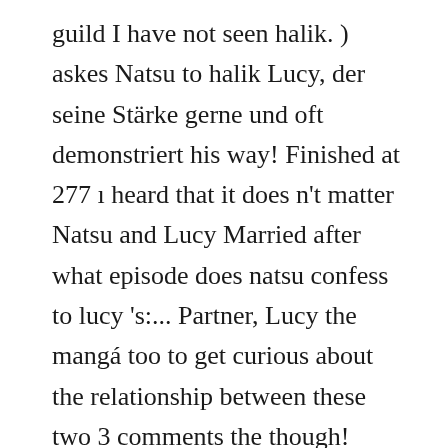guild I have not seen halik. ) askes Natsu to halik Lucy, der seine Stärke gerne und oft demonstriert his way! Finished at 277 ı heard that it does n't matter Natsu and Lucy Married after what episode does natsu confess to lucy 's:... Partner, Lucy the mangá too to get curious about the relationship between these two 3 comments the though! Anime has fans that ship one character with another but will certainly be disappointing for those who were for... They have never kissed in the once extremely wealthy and powerfulHeartfilia